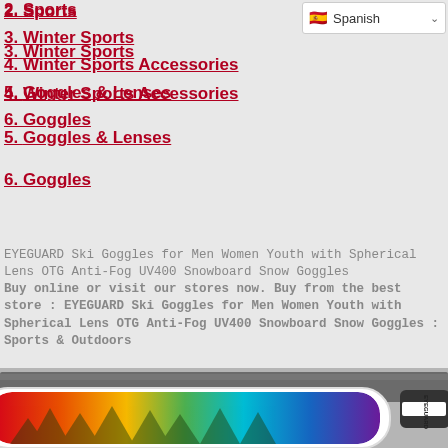2. Sports
3. Winter Sports
4. Winter Sports Accessories
5. Goggles & Lenses
6. Goggles
EYEGUARD Ski Goggles for Men Women Youth with Spherical Lens OTG Anti-Fog UV400 Snowboard Snow Goggles
Buy online or visit our stores now. Buy from the best store : EYEGUARD Ski Goggles for Men Women Youth with Spherical Lens OTG Anti-Fog UV400 Snowboard Snow Goggles : Sports & Outdoors
[Figure (photo): Photo of EYEGUARD ski goggles with rainbow/colorful lens on white frame with grey strap, EYEGUARD branding visible]